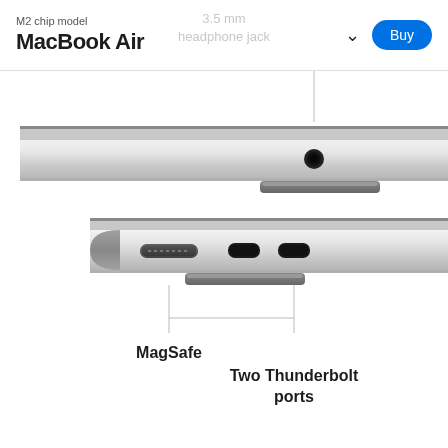M2 chip model MacBook Air
3.5 mm headphone jack
[Figure (photo): Side view of MacBook Air showing the right side with a 3.5mm headphone jack port, silver aluminum chassis, with a connector line pointing to the port.]
[Figure (photo): Side view of MacBook Air showing the left side with MagSafe charging port and two Thunderbolt USB-C ports, silver aluminum chassis, with connector lines and labels pointing to MagSafe and Two Thunderbolt ports below.]
MagSafe
Two Thunderbolt ports